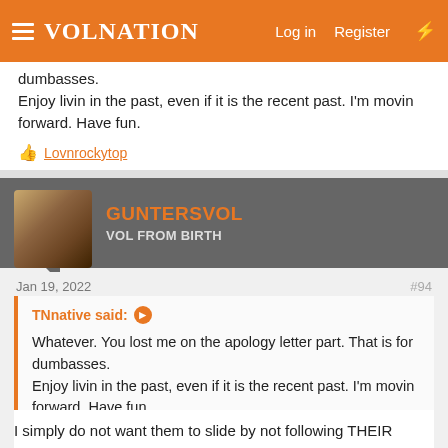VolNation — Log in  Register
dumbasses.
Enjoy livin in the past, even if it is the recent past. I'm movin forward. Have fun.
👍 Lovnrockytop
GUNTERSVOL
VOL FROM BIRTH
Jan 19, 2022  #94
TNnative said: ➤
Whatever. You lost me on the apology letter part. That is for dumbasses.
Enjoy livin in the past, even if it is the recent past. I'm movin forward. Have fun.
I simply do not want them to slide by not following THEIR